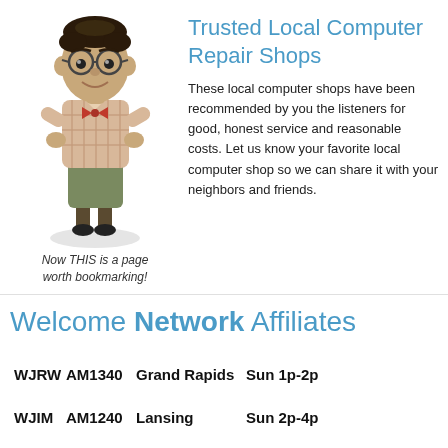[Figure (illustration): Cartoon-style illustration of a nerdy man with glasses and plaid shirt, looking up at viewer from a low angle, with shadow beneath him.]
Now THIS is a page worth bookmarking!
Trusted Local Computer Repair Shops
These local computer shops have been recommended by you the listeners for good, honest service and reasonable costs.  Let us know your favorite local computer shop so we can share it with your neighbors and friends.
Welcome Network Affiliates
WJRW AM1340 Grand Rapids Sun 1p-2p
WJIM   AM1240 Lansing       Sun 2p-4p